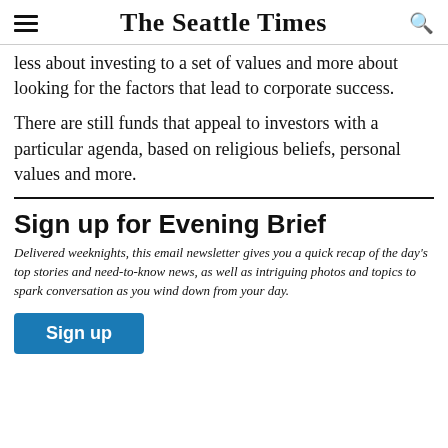The Seattle Times
less about investing to a set of values and more about looking for the factors that lead to corporate success.
There are still funds that appeal to investors with a particular agenda, based on religious beliefs, personal values and more.
Sign up for Evening Brief
Delivered weeknights, this email newsletter gives you a quick recap of the day's top stories and need-to-know news, as well as intriguing photos and topics to spark conversation as you wind down from your day.